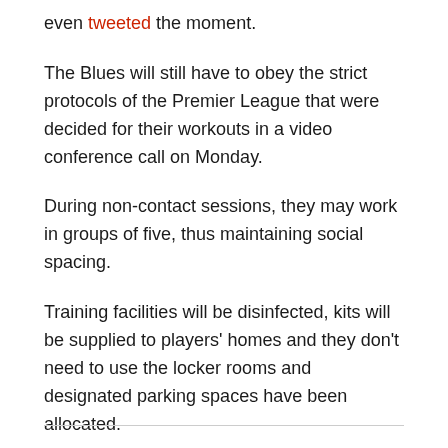even tweeted the moment.
The Blues will still have to obey the strict protocols of the Premier League that were decided for their workouts in a video conference call on Monday.
During non-contact sessions, they may work in groups of five, thus maintaining social spacing.
Training facilities will be disinfected, kits will be supplied to players' homes and they don't need to use the locker rooms and designated parking spaces have been allocated.